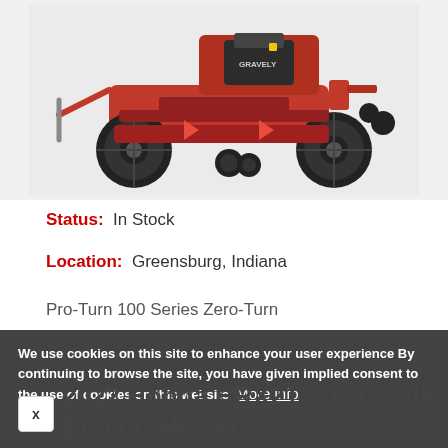[Figure (photo): Red Gravely Pro-Turn zero-turn riding lawn mower photographed from the side/front on a light gray background, showing large rear wheels, engine, and cutting deck.]
Status:  In Stock
Location:  Greensburg, Indiana
Pro-Turn 100 Series Zero-Turn
We use cookies on this site to enhance your user experience By continuing to browse the site, you have given implied consent to the use of cookies on this website. More info
2022 Honda HRX217VKA Walk Behind Mower